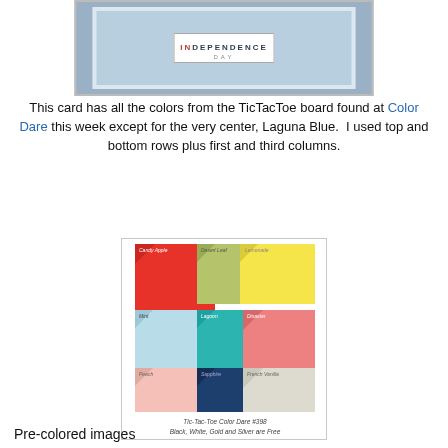[Figure (photo): Top portion of a handmade Independence Day card with red, white, and blue colors showing the word INDEPENDENCE DAY]
This card has all the colors from the TicTacToe board found at Color Dare this week except for the very center, Laguna Blue.  I used top and bottom rows plus first and third columns.
[Figure (photo): Tic-Tac-Toe Color Dare #398 color grid showing 9 color swatches: Candy Apple (red), Desert Leaf (green), Lemonade (yellow), Mint (light blue), Lagoon (teal), Disaster (coral/pink), Peach (light pink), Sapphire (dark blue), French Vanilla (light gray/cream). Caption: Tic-Tac-Toe Color Dare #398, Black, White, Gold and Silver are Free]
Pre-colored images